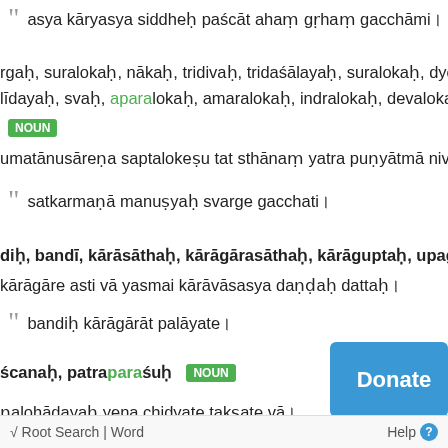asya kāryasya siddheḥ paścāt ahaṃ gṛhaṃ gacchāmi।
rgaḥ, suralokaḥ, nākaḥ, tridivaḥ, tridaśālayaḥ, suralokaḥ, dyoḥ, dya… līdayaḥ, svaḥ, aparalokaḥ, amaralokaḥ, indralokaḥ, devalokaḥ, deva…
NOUN
umatānusāreṇa saptalokeṣu tat sthānaṃ yatra puṇyātmā nivasati।
satkarmaṇā manuṣyaḥ svarge gacchati।
diḥ, bandī, kārāsāthaḥ, kārāgārasāthaḥ, kārāguptaḥ, upagrahaḥ, gra…
kārāgāre asti vā yasmai kārāvāsasya daṇḍaḥ dattaḥ।
bandiḥ kārāgārāt palāyate।
ścanaḥ, patraparaśuḥ  NOUN
[Figure (other): Donate button with blue background, document icon with heart, and text 'Donate']
ṇalohādayaḥ yena chidyate takṣate vā।
√ Root Search | Word    Help